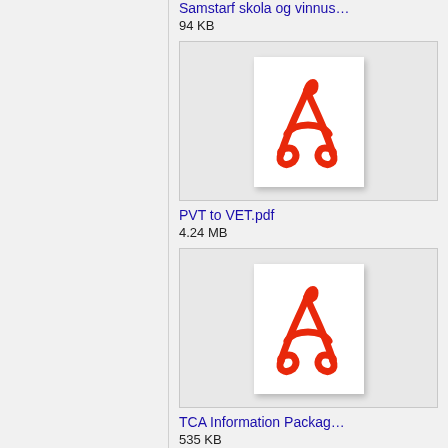Samstarf skola og vinnus…
94 KB
[Figure (screenshot): PDF file thumbnail icon for PVT to VET.pdf showing Adobe Acrobat red logo on white background]
PVT to VET.pdf
4.24 MB
[Figure (screenshot): PDF file thumbnail icon for TCA Information Package showing Adobe Acrobat red logo on white background]
TCA Information Packag…
535 KB